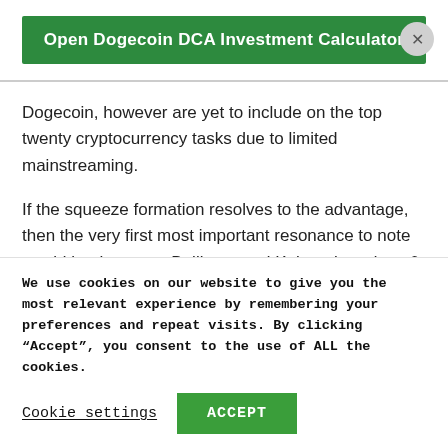[Figure (other): Green button labeled 'Open Dogecoin DCA Investment Calculator' with an X close button on the right]
Dogecoin, however are yet to include on the top twenty cryptocurrency tasks due to limited mainstreaming.
If the squeeze formation resolves to the advantage, then the very first most important resonance to note would be the upper Bollinger and Keltner brands at 6 forty. Then a day-to-day close above the resistance will raise the odds that the rally will reach the 618 Fibonacci retracement level of the February
We use cookies on our website to give you the most relevant experience by remembering your preferences and repeat visits. By clicking “Accept”, you consent to the use of ALL the cookies.
Cookie settings    ACCEPT